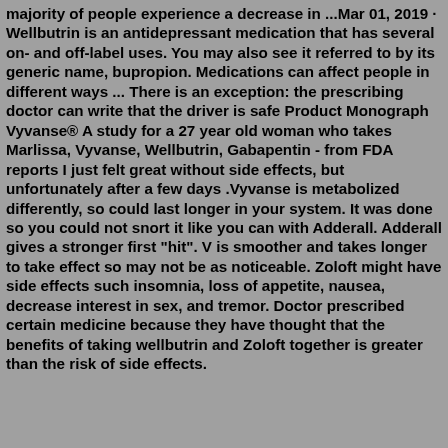majority of people experience a decrease in ...Mar 01, 2019 · Wellbutrin is an antidepressant medication that has several on- and off-label uses. You may also see it referred to by its generic name, bupropion. Medications can affect people in different ways ... There is an exception: the prescribing doctor can write that the driver is safe Product Monograph Vyvanse® A study for a 27 year old woman who takes Marlissa, Vyvanse, Wellbutrin, Gabapentin - from FDA reports I just felt great without side effects, but unfortunately after a few days .Vyvanse is metabolized differently, so could last longer in your system. It was done so you could not snort it like you can with Adderall. Adderall gives a stronger first "hit". V is smoother and takes longer to take effect so may not be as noticeable. Zoloft might have side effects such insomnia, loss of appetite, nausea, decrease interest in sex, and tremor. Doctor prescribed certain medicine because they have thought that the benefits of taking wellbutrin and Zoloft together is greater than the risk of side effects.